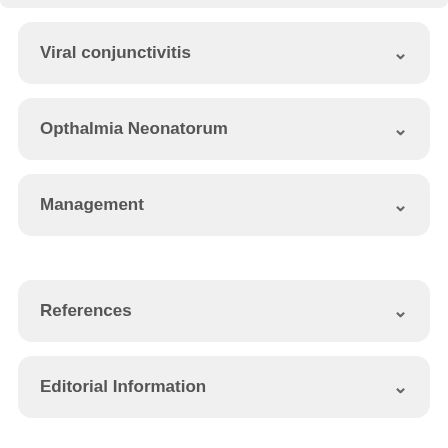Viral conjunctivitis
Opthalmia Neonatorum
Management
References
Editorial Information